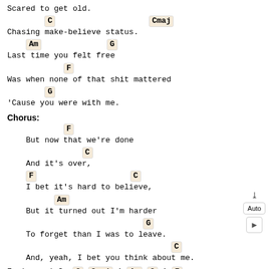Scared to get old.
C                    Cmaj
Chasing make-believe status.
Am          G
Last time you felt free
F
Was when none of that shit mattered
G
'Cause you were with me.
Chorus:
F
But now that we're done
C
And it's over,
F                    C
I bet it's hard to believe,
Am
But it turned out I'm harder
G
To forget than I was to leave.
C
And, yeah, I bet you think about me.
Instrumental: C Cmaj | Am G | F...